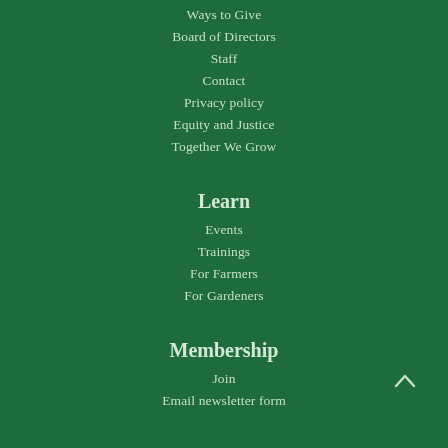Ways to Give
Board of Directors
Staff
Contact
Privacy policy
Equity and Justice
Together We Grow
Learn
Events
Trainings
For Farmers
For Gardeners
Membership
Join
Email newsletter form